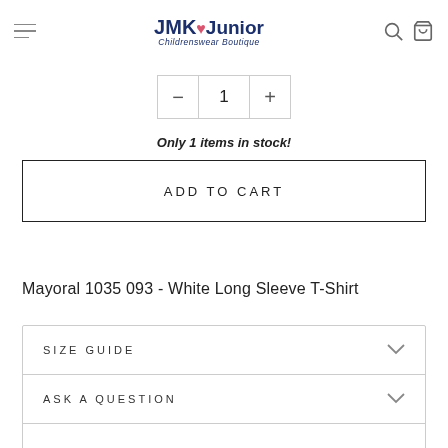JMK Junior Childrenswear Boutique
1
Only 1 items in stock!
ADD TO CART
Mayoral 1035 093 - White Long Sleeve T-Shirt
SIZE GUIDE
ASK A QUESTION